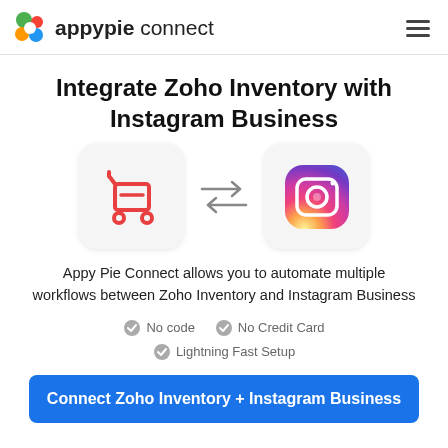appypie connect
Integrate Zoho Inventory with Instagram Business
[Figure (illustration): Two app icons side by side with bidirectional arrows between them: left icon is Zoho Inventory (red cart/box icon on light gray rounded square), right icon is Instagram Business (colorful gradient camera icon on light gray rounded square)]
Appy Pie Connect allows you to automate multiple workflows between Zoho Inventory and Instagram Business
No code
No Credit Card
Lightning Fast Setup
Connect Zoho Inventory + Instagram Business